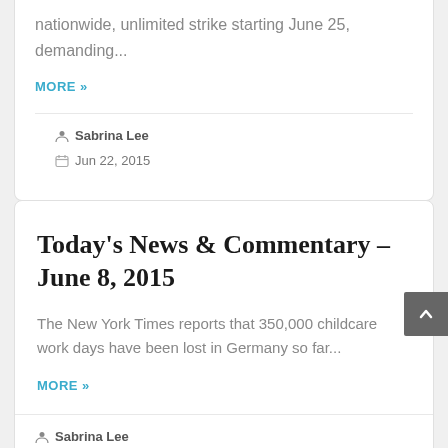nationwide, unlimited strike starting June 25, demanding...
MORE »
Sabrina Lee
Jun 22, 2015
Today's News & Commentary – June 8, 2015
The New York Times reports that 350,000 childcare work days have been lost in Germany so far...
MORE »
Sabrina Lee